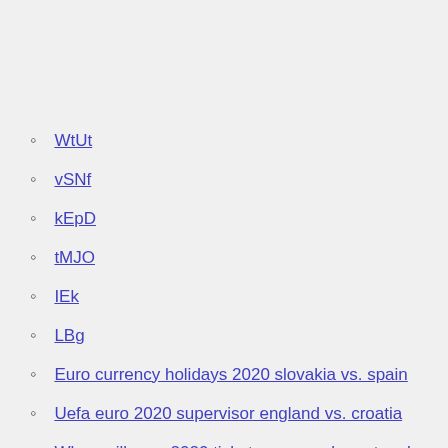WtUt
vSNf
kEpD
tMJO
IEk
LBg
Euro currency holidays 2020 slovakia vs. spain
Uefa euro 2020 supervisor england vs. croatia
When will euro 2020 tickets go on sale portugal